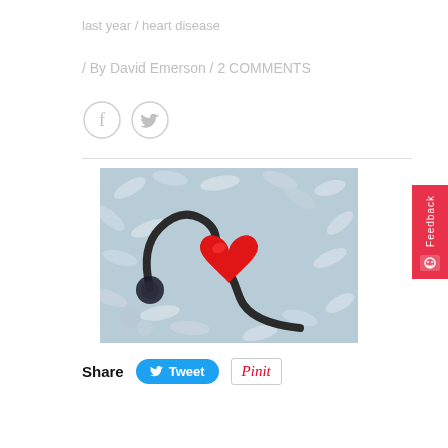last year / heart disease
/ By David Emerson / 2 COMMENTS
[Figure (other): Social share icons: Facebook and Twitter circle buttons]
[Figure (photo): Medical photo showing a red heart shape and stethoscope surrounded by pills and capsules]
Share  Tweet  Pinit